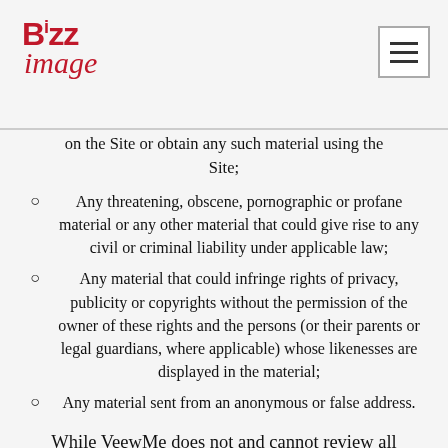BizzImage logo and navigation
on the Site or obtain any such material using the Site;
Any threatening, obscene, pornographic or profane material or any other material that could give rise to any civil or criminal liability under applicable law;
Any material that could infringe rights of privacy, publicity or copyrights without the permission of the owner of these rights and the persons (or their parents or legal guardians, where applicable) whose likenesses are displayed in the material;
Any material sent from an anonymous or false address.
While VeewMe does not and cannot review all material on the Site, and is not responsible for its content, VeewMe reserves the right to remove, delete, move or edit Content that it, in